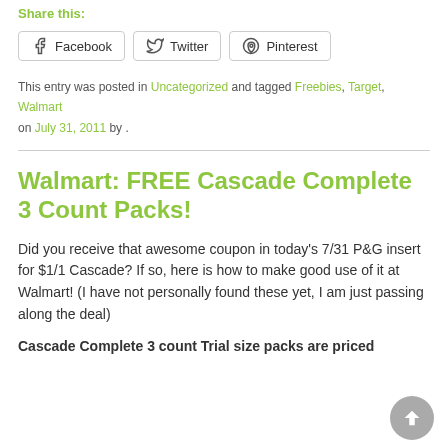Share this:
Facebook   Twitter   Pinterest
This entry was posted in Uncategorized and tagged Freebies, Target, Walmart on July 31, 2011 by .
Walmart: FREE Cascade Complete 3 Count Packs!
Did you receive that awesome coupon in today's 7/31 P&G insert for $1/1 Cascade? If so, here is how to make good use of it at Walmart! (I have not personally found these yet, I am just passing along the deal)
Cascade Complete 3 count Trial size packs are priced